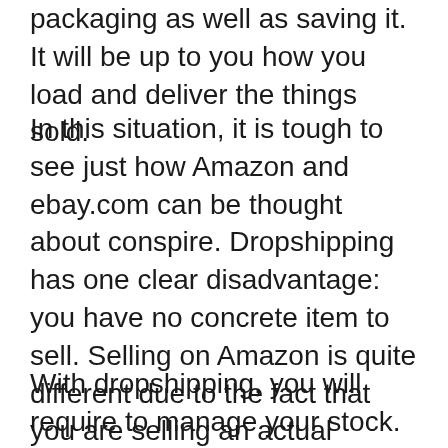packaging as well as saving it. It will be up to you how you load and deliver the things sold.
In this situation, it is tough to see just how Amazon and ebay.com can be thought about conspire. Dropshipping has one clear disadvantage: you have no concrete item to sell. Selling on Amazon is quite different due to the fact that you are selling an actual product. Once you become an associate, you will gain access to countless products that are noted as well as prepared to be sold.
With dropshipping, you will require to manage your stock. Amazon does all the job. You will still require to make sure that your consumers receive the goods that they